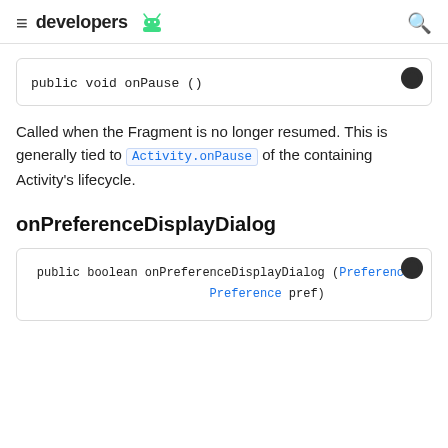developers [android logo]
public void onPause ()
Called when the Fragment is no longer resumed. This is generally tied to Activity.onPause of the containing Activity's lifecycle.
onPreferenceDisplayDialog
public boolean onPreferenceDisplayDialog (Preference Preference pref)